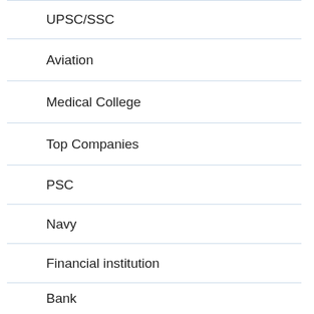UPSC/SSC
Aviation
Medical College
Top Companies
PSC
Navy
Financial institution
Bank